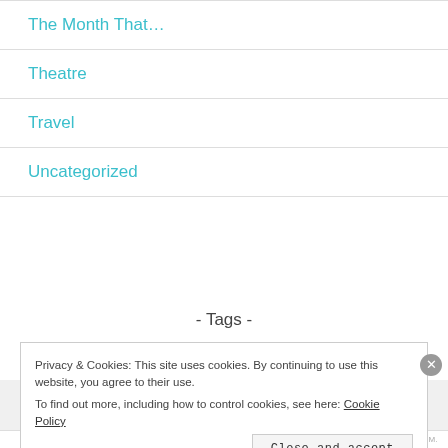The Month That…
Theatre
Travel
Uncategorized
- Tags -
Privacy & Cookies: This site uses cookies. By continuing to use this website, you agree to their use. To find out more, including how to control cookies, see here: Cookie Policy
Close and accept